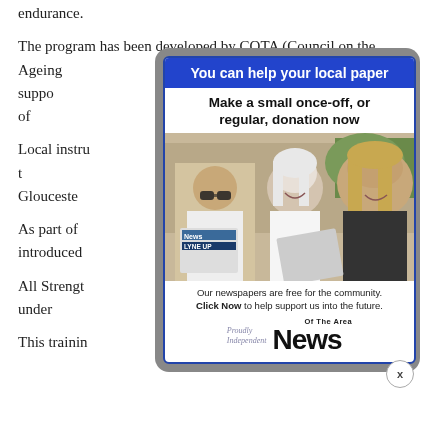endurance.
The program has been developed by COTA (Council on the Ageing ... dCoast with support ... support service of ...
Local instructors ... were closed at the ... Gloucester...
As part of ... been introduced ...
All Strength ... professionals who under... to be accredited ...
This training ... and how to
[Figure (other): Advertisement overlay for 'Of The Area News' with heading 'You can help your local paper', subheading 'Make a small once-off, or regular, donation now', a photo of three young people holding newspapers, caption text 'Our newspapers are free for the community. Click Now to help support us into the future.', and the News logo with 'Proudly Independent' text. A close (X) button is in the bottom right corner.]